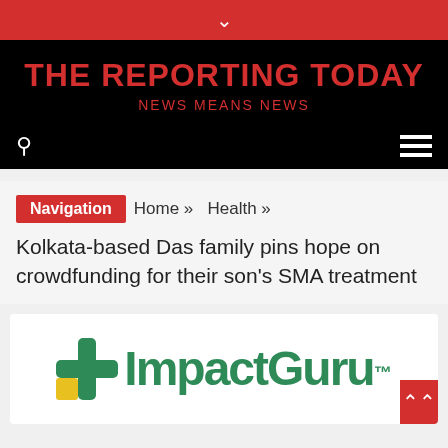THE REPORTING TODAY — NEWS MEANS NEWS
Navigation   Home » Health »
Kolkata-based Das family pins hope on crowdfunding for their son's SMA treatment
[Figure (logo): ImpactGuru.com logo with green plus/cross icon and green text]